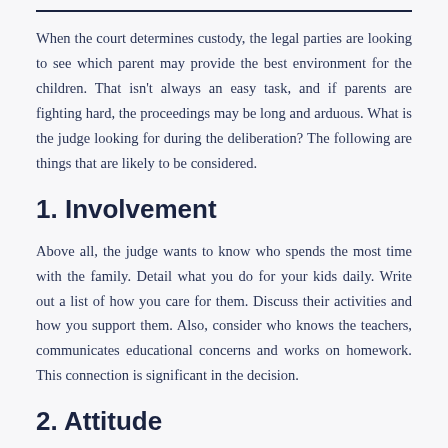When the court determines custody, the legal parties are looking to see which parent may provide the best environment for the children. That isn't always an easy task, and if parents are fighting hard, the proceedings may be long and arduous. What is the judge looking for during the deliberation? The following are things that are likely to be considered.
1. Involvement
Above all, the judge wants to know who spends the most time with the family. Detail what you do for your kids daily. Write out a list of how you care for them. Discuss their activities and how you support them. Also, consider who knows the teachers, communicates educational concerns and works on homework. This connection is significant in the decision.
2. Attitude